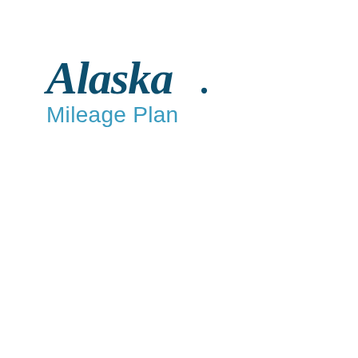[Figure (logo): Alaska Airlines Mileage Plan logo. 'Alaska' in dark teal italic script font with a period, and 'Mileage Plan' in lighter teal sans-serif font below.]